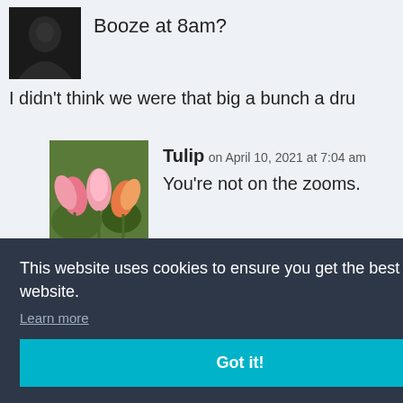Booze at 8am?
I didn't think we were that big a bunch a dru
Tulip on April 10, 2021 at 7:04 am
You're not on the zooms.
UnCivilServant on April 10, 2021
and stress
10, 2021 at
e drinking,
This website uses cookies to ensure you get the best experience on our website.
Learn more
Got it!
Nephilium on April 10, 2021 at 7:07 am
[Figure (photo): Dark avatar image (hooded figure)]
[Figure (photo): Tulip flowers avatar image]
[Figure (photo): UnCivilServant dark avatar with yellow element]
[Figure (photo): Nephilium avatar with heart symbol]